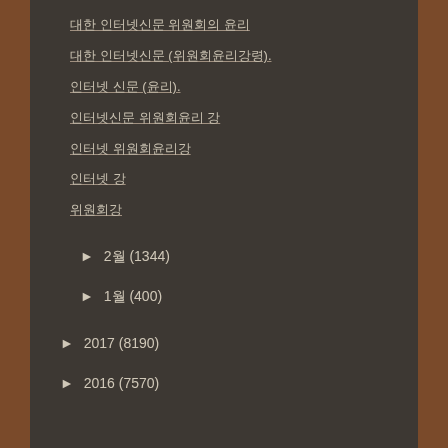대한 인터넷신문 위원회의 윤리
대한 인터넷신문 (위원회윤리강령).
인터넷 신문 (윤리).
인터넷신문 위원회윤리 강
인터넷 위원회윤리강
인터넷 강
위원회강
► 2월 (1344)
► 1월 (400)
► 2017 (8190)
► 2016 (7570)